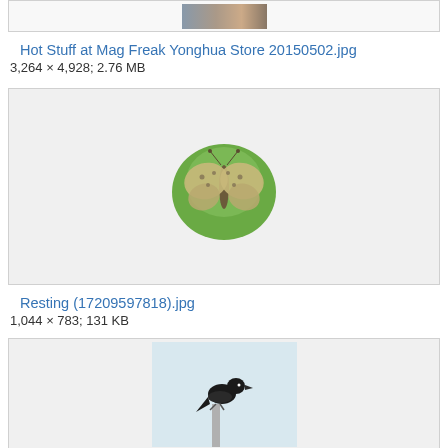[Figure (photo): Top partial image box showing a cropped photo thumbnail]
Hot Stuff at Mag Freak Yonghua Store 20150502.jpg
3,264 × 4,928; 2.76 MB
[Figure (photo): A butterfly resting on a green leaf, viewed from the side, showing spotted wing pattern]
Resting (17209597818).jpg
1,044 × 783; 131 KB
[Figure (photo): A black bird perched on a pole or branch against a light blue background]